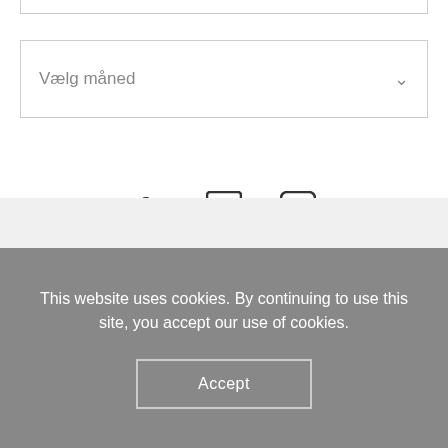Vælg måned
[Figure (other): Social media icons: Facebook (f), Google/Goodreads (g in square), Instagram (camera in square)]
This website uses cookies. By continuing to use this site, you accept our use of cookies.
Accept